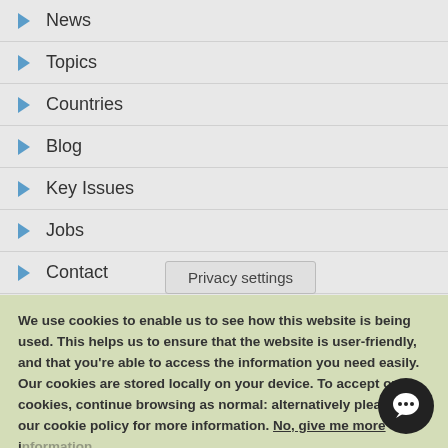▶ News
▶ Topics
▶ Countries
▶ Blog
▶ Key Issues
▶ Jobs
▶ Contact
▶ Search
ABOUT
Eldis supports free and open access to useful and relevant...
We use cookies to enable us to see how this website is being used. This helps us to ensure that the website is user-friendly, and that you're able to access the information you need easily. Our cookies are stored locally on your device. To accept our cookies, continue browsing as normal: alternatively please see our cookie policy for more information. No, give me more i...
Privacy settings